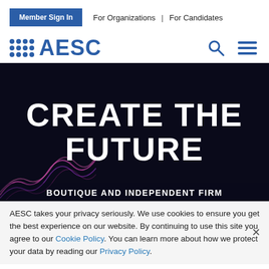Member Sign In  For Organizations | For Candidates
[Figure (logo): AESC logo with dot grid and search/hamburger menu icons]
CREATE THE FUTURE
BOUTIQUE AND INDEPENDENT FIRM
AESC takes your privacy seriously. We use cookies to ensure you get the best experience on our website. By continuing to use this site you agree to our Cookie Policy. You can learn more about how we protect your data by reading our Privacy Policy.